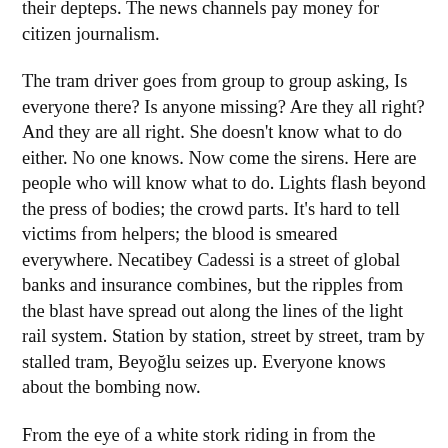their depteps. The news channels pay money for citizen journalism.
The tram driver goes from group to group asking, Is everyone there? Is anyone missing? Are they all right? And they are all right. She doesn't know what to do either. No one knows. Now come the sirens. Here are people who will know what to do. Lights flash beyond the press of bodies; the crowd parts. It's hard to tell victims from helpers; the blood is smeared everywhere. Necatibey Cadessi is a street of global banks and insurance combines, but the ripples from the blast have spread out along the lines of the light rail system. Station by station, street by street, tram by stalled tram, Beyoğlu seizes up. Everyone knows about the bombing now.
From the eye of a white stork riding in from the Bosphorus the paralysis can be seen spreading out from the heart of the outrage. Its eye has no comprehension of these things; the sirens are just another unremarkable note in the clamour of a waking city. City and stork occupy overlapping but discrete universes. Its descent carries it over the bombed-out tram surrounded by flashing blue lights and into the heel of the next thermal. Then the rising heat plumes of Istanbul spiral...